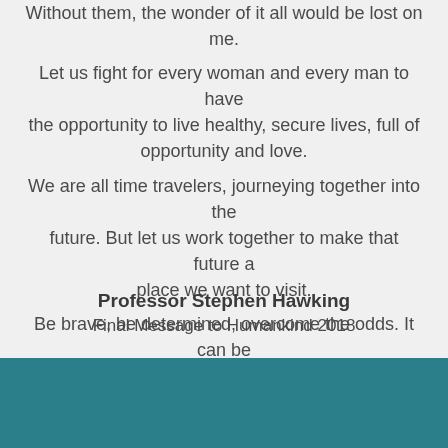Without them, the wonder of it all would be lost on me. Let us fight for every woman and every man to have the opportunity to live healthy, secure lives, full of opportunity and love. We are all time travelers, journeying together into the future. But let us work together to make that future a place we want to visit. Be brave, be determined, overcome the odds. It can be done.”
Professor Stephen Hawking
Final Message to Humankind 2018